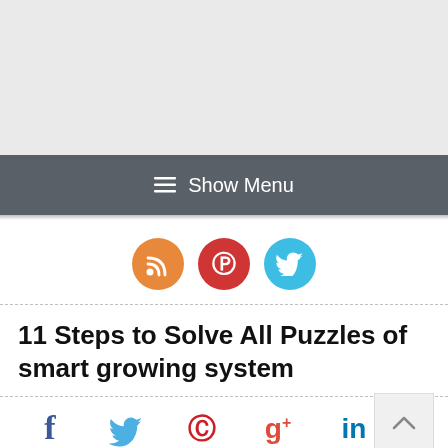[Figure (screenshot): Gray banner/advertisement area at top of webpage]
≡ Show Menu
[Figure (infographic): Three social media icon circles: RSS (orange), Pinterest (red), Twitter (blue)]
11 Steps to Solve All Puzzles of smart growing system
[Figure (infographic): Social sharing bar with Facebook (f), Twitter, Pinterest, Google+, LinkedIn icons each with colored bars underneath]